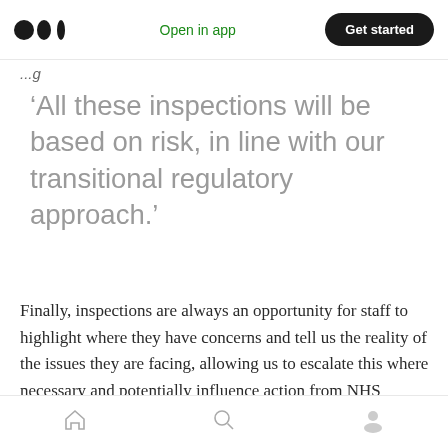Medium app header with logo, Open in app, Get started button
‘All these inspections will be based on risk, in line with our transitional regulatory approach.’
Finally, inspections are always an opportunity for staff to highlight where they have concerns and tell us the reality of the issues they are facing, allowing us to escalate this where necessary and potentially influence action from NHS England